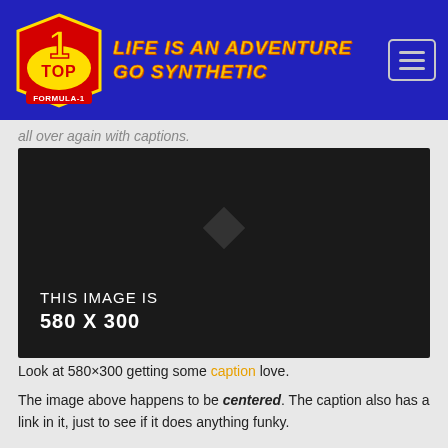[Figure (logo): TOP 1 Formula-1 logo with tagline 'LIFE IS AN ADVENTURE GO SYNTHETIC' on blue header background]
all over again with captions.
[Figure (photo): Dark/black placeholder image 580x300 with text 'THIS IMAGE IS 580 X 300']
Look at 580×300 getting some caption love.
The image above happens to be centered. The caption also has a link in it, just to see if it does anything funky.